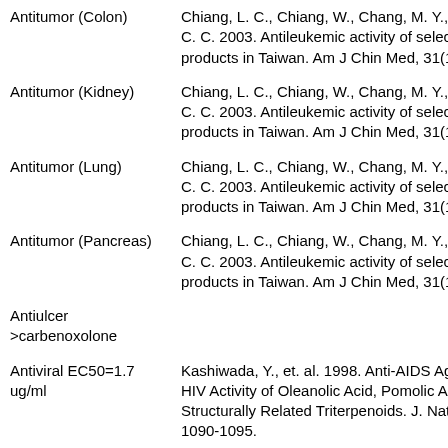Antitumor (Colon)
Chiang, L. C., Chiang, W., Chang, M. Y., N C. C. 2003. Antileukemic activity of selecte products in Taiwan. Am J Chin Med, 31(1)
Antitumor (Kidney)
Chiang, L. C., Chiang, W., Chang, M. Y., N C. C. 2003. Antileukemic activity of selecte products in Taiwan. Am J Chin Med, 31(1)
Antitumor (Lung)
Chiang, L. C., Chiang, W., Chang, M. Y., N C. C. 2003. Antileukemic activity of selecte products in Taiwan. Am J Chin Med, 31(1)
Antitumor (Pancreas)
Chiang, L. C., Chiang, W., Chang, M. Y., N C. C. 2003. Antileukemic activity of selecte products in Taiwan. Am J Chin Med, 31(1)
Antiulcer >carbenoxolone
Antiviral EC50=1.7 ug/ml
Kashiwada, Y., et. al. 1998. Anti-AIDS Age HIV Activity of Oleanolic Acid, Pomolic A Structurally Related Triterpenoids. J. Nat. P 1090-1095.
Antiviral IC50=21.8 ug/ml
Kashiwada, Y., et. al. 1998. Anti-AIDS Age HIV Activity of Oleanolic Acid, Pomolic A Structurally Related Triterpenoids. J. Nat. P 1090-1095.
Aromatase-Inhibitor
Beta-Blocker